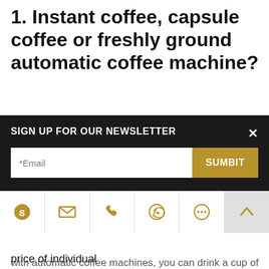1. Instant coffee, capsule coffee or freshly ground automatic coffee machine?
Instant coffee is a great contributor to the coffee industry in China. It has allowed coffee to rise in China, and more and more people are falling in love with coffee as a drink. However, with the understanding of coffee, instant coffee can no longer satisfy us for the quality and quality of coffee. For taste requirements, capsule coffee machines are currently a popular product, but the price of individual...
SIGN UP FOR OUR NEWSLETTER
with automatic coffee machines, you can drink a cup of...